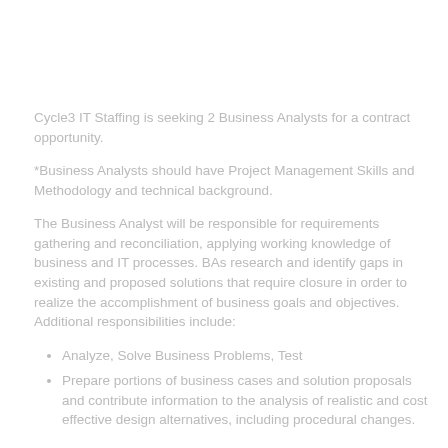Cycle3 IT Staffing is seeking 2 Business Analysts for a contract opportunity.
*Business Analysts should have Project Management Skills and Methodology and technical background.
The Business Analyst will be responsible for requirements gathering and reconciliation, applying working knowledge of business and IT processes. BAs research and identify gaps in existing and proposed solutions that require closure in order to realize the accomplishment of business goals and objectives. Additional responsibilities include:
Analyze, Solve Business Problems, Test
Prepare portions of business cases and solution proposals and contribute information to the analysis of realistic and cost effective design alternatives, including procedural changes.
Demonstrate…